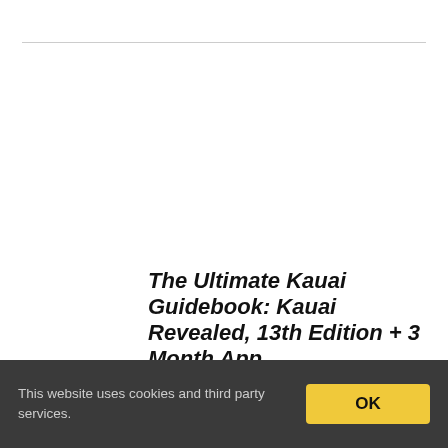[Figure (illustration): Book cover for 'The Ultimate Kauai Guidebook' showing an aerial/map view of Kauai island in teal and green tones, with a smartphone showing a scenic photo of the island in the lower right corner. Small text at top reads HAWAII'S BEST-SELLING GUIDEBOOK.]
The Ultimate Kauai Guidebook: Kauai Revealed, 13th Edition + 3 Month App
This website uses cookies and third party services.